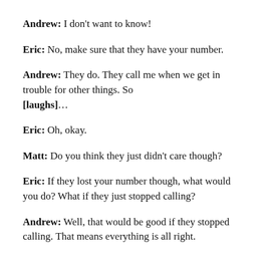Andrew: I don't want to know!
Eric: No, make sure that they have your number.
Andrew: They do. They call me when we get in trouble for other things. So [laughs]…
Eric: Oh, okay.
Matt: Do you think they just didn't care though?
Eric: If they lost your number though, what would you do? What if they just stopped calling?
Andrew: Well, that would be good if they stopped calling. That means everything is all right.